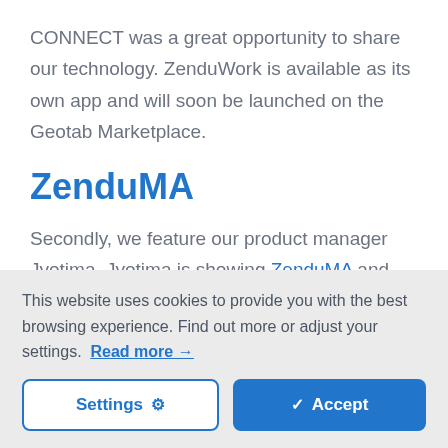CONNECT was a great opportunity to share our technology. ZenduWork is available as its own app and will soon be launched on the Geotab Marketplace.
ZenduMA
Secondly, we feature our product manager Jyotima. Jyotima is showing ZenduMA and how it transforms Geotab codes into
This website uses cookies to provide you with the best browsing experience. Find out more or adjust your settings. Read more →
Settings ⚙  Accept